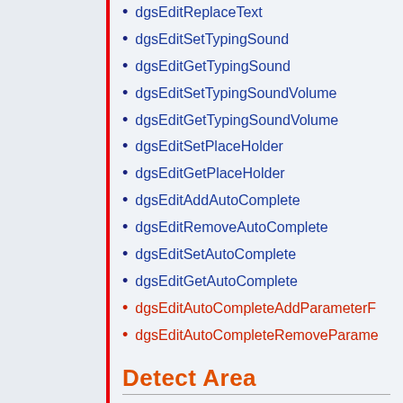dgsEditReplaceText
dgsEditSetTypingSound
dgsEditGetTypingSound
dgsEditSetTypingSoundVolume
dgsEditGetTypingSoundVolume
dgsEditSetPlaceHolder
dgsEditGetPlaceHolder
dgsEditAddAutoComplete
dgsEditRemoveAutoComplete
dgsEditSetAutoComplete
dgsEditGetAutoComplete
dgsEditAutoCompleteAddParameterF...
dgsEditAutoCompleteRemoveParame...
Detect Area
dgsCreateDetectArea
dgsGetDetectArea
dgsApplyDetectArea
dgsRemoveDetectArea